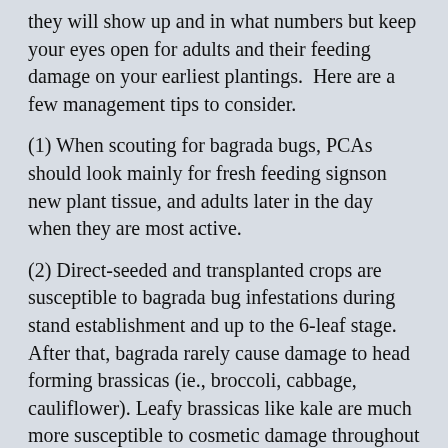they will show up and in what numbers but keep your eyes open for adults and their feeding damage on your earliest plantings.  Here are a few management tips to consider.
(1) When scouting for bagrada bugs, PCAs should look mainly for fresh feeding signson new plant tissue, and adults later in the day when they are most active.
(2) Direct-seeded and transplanted crops are susceptible to bagrada bug infestations during stand establishment and up to the 6-leaf stage. After that, bagrada rarely cause damage to head forming brassicas (ie., broccoli, cabbage, cauliflower). Leafy brassicas like kale are much more susceptible to cosmetic damage throughout the season though.
(3)  We recommend that control be initiated immediately if 5% or more of plants have fresh-feeding signs. This can include chemigation or aerial applications with